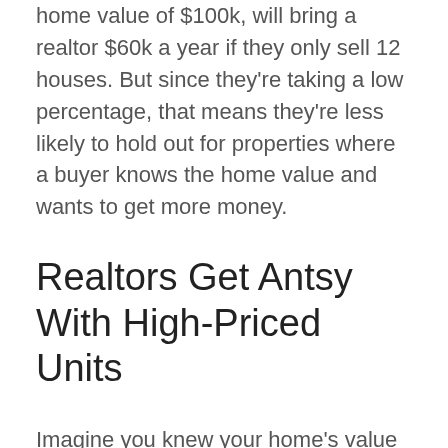home value of $100k, will bring a realtor $60k a year if they only sell 12 houses. But since they're taking a low percentage, that means they're less likely to hold out for properties where a buyer knows the home value and wants to get more money.
Realtors Get Antsy With High-Priced Units
Imagine you knew your home's value was worth $250k, but the realtor wants to sell it at $200k. It doesn't make sense, right? Shouldn't